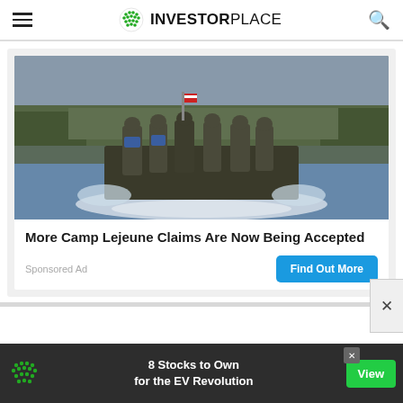InvestorPlace
[Figure (photo): Military personnel in camouflage gear riding a fast tactical boat on a river, with trees in the background.]
More Camp Lejeune Claims Are Now Being Accepted
Sponsored Ad
[Figure (infographic): Bottom banner ad: green dotted InvestorPlace logo, text '8 Stocks to Own for the EV Revolution', green View button, dark background.]